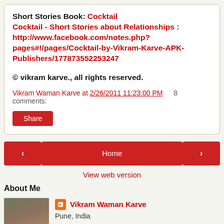Short Stories Book: Cocktail
Cocktail - Short Stories about Relationships : http://www.facebook.com/notes.php?pages#!/pages/Cocktail-by-Vikram-Karve-APK-Publishers/177873552253247
© vikram karve., all rights reserved.
Vikram Waman Karve at 2/26/2011 11:23:00 PM    8 comments:
Share
Home
View web version
About Me
Vikram Waman Karve
Pune, India